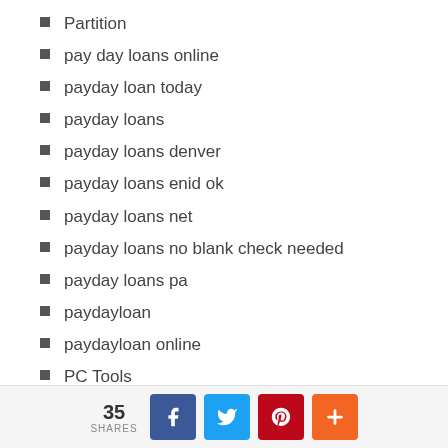Partition
pay day loans online
payday loan today
payday loans
payday loans denver
payday loans enid ok
payday loans net
payday loans no blank check needed
payday loans pa
paydayloan
paydayloan online
PC Tools
PC-Optimization
personal installment loans
Phrendly pagina para ligar
35 SHARES